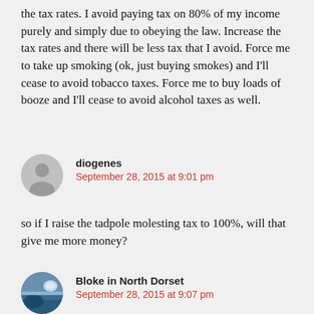the tax rates. I avoid paying tax on 80% of my income purely and simply due to obeying the law. Increase the tax rates and there will be less tax that I avoid. Force me to take up smoking (ok, just buying smokes) and I'll cease to avoid tobacco taxes. Force me to buy loads of booze and I'll cease to avoid alcohol taxes as well.
diogenes
September 28, 2015 at 9:01 pm
so if I raise the tadpole molesting tax to 100%, will that give me more money?
Bloke in North Dorset
September 28, 2015 at 9:07 pm